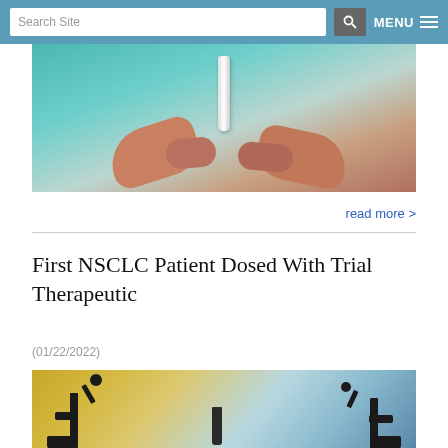Search Site | MENU
[Figure (photo): Close-up photo of hands holding a laboratory test tube against a teal/green background]
read more >
First NSCLC Patient Dosed With Trial Therapeutic
(01/22/2022)
[Figure (photo): Photo of laboratory microscopes with yellow and blue tinted background]